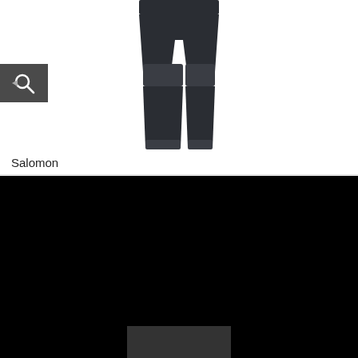[Figure (photo): Dark athletic pants/tights product photo on white background]
[Figure (other): Search magnifying glass icon on dark grey background]
Salomon
This website uses cookies to ensure you get the best experience on our website
Dismiss
Set Prefrences
Allow Cookies